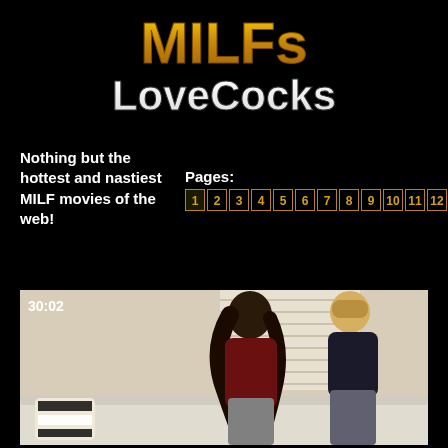[Figure (logo): MILFs LoveCocks logo with golden stylized text on black background]
Nothing but the hottest and nastiest MILF movies of the web!
Pages: 1 2 3 4 5 6 7 8 9 10 11 12
[Figure (photo): Video thumbnail showing two women on a couch, timestamp 30:02 in top left corner]